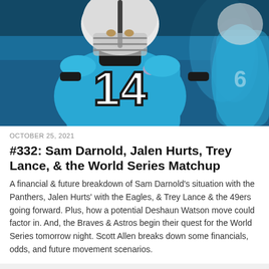[Figure (photo): Carolina Panthers quarterback wearing #14 blue jersey and white helmet, close-up action photo on the field]
OCTOBER 25, 2021
#332: Sam Darnold, Jalen Hurts, Trey Lance, & the World Series Matchup
A financial & future breakdown of Sam Darnold's situation with the Panthers, Jalen Hurts' with the Eagles, & Trey Lance & the 49ers going forward. Plus, how a potential Deshaun Watson move could factor in. And, the Braves & Astros begin their quest for the World Series tomorrow night. Scott Allen breaks down some financials, odds, and future movement scenarios.